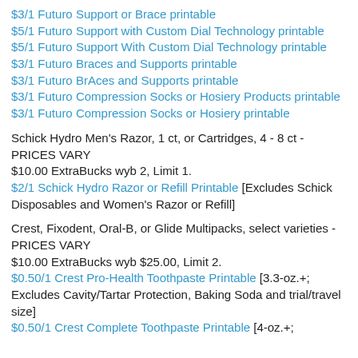$3/1 Futuro Support or Brace printable
$5/1 Futuro Support with Custom Dial Technology printable
$5/1 Futuro Support With Custom Dial Technology printable
$3/1 Futuro Braces and Supports printable
$3/1 Futuro BrAces and Supports printable
$3/1 Futuro Compression Socks or Hosiery Products printable
$3/1 Futuro Compression Socks or Hosiery printable
Schick Hydro Men's Razor, 1 ct, or Cartridges, 4 - 8 ct - PRICES VARY
$10.00 ExtraBucks wyb 2, Limit 1.
$2/1 Schick Hydro Razor or Refill Printable [Excludes Schick Disposables and Women's Razor or Refill]
Crest, Fixodent, Oral-B, or Glide Multipacks, select varieties - PRICES VARY
$10.00 ExtraBucks wyb $25.00, Limit 2.
$0.50/1 Crest Pro-Health Toothpaste Printable [3.3-oz.+; Excludes Cavity/Tartar Protection, Baking Soda and trial/travel size]
$0.50/1 Crest Complete Toothpaste Printable [4-oz.+;